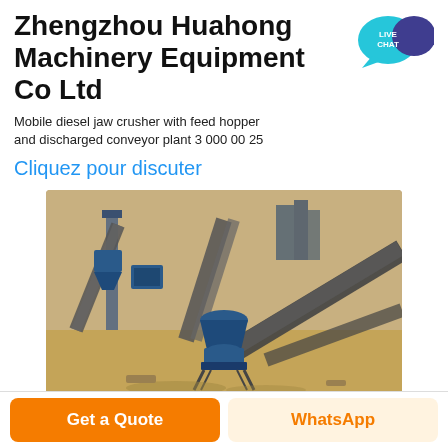Zhengzhou Huahong Machinery Equipment Co Ltd
Mobile diesel jaw crusher with feed hopper and discharged conveyor plant 3 000 00 25
Cliquez pour discuter
[Figure (photo): Aerial/elevated view of industrial crushing and conveyor plant with multiple belt conveyors, blue machinery including a cone crusher in the center, set on sandy/earthen ground at a quarry or mining site.]
Get a Quote
WhatsApp